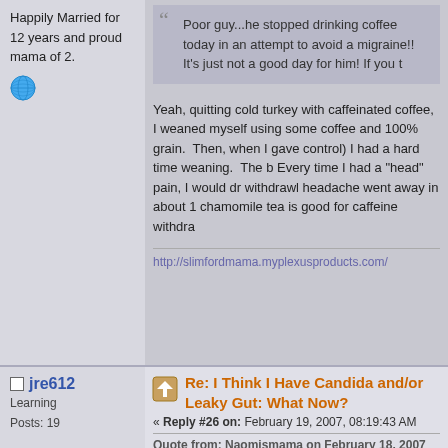Happily Married for 12 years and proud mama of 2.
Poor guy...he stopped drinking coffee today in an attempt to avoid a migraine!! It's just not a good day for him! If you t
Yeah, quitting cold turkey with caffeinated coffee, I weaned myself using some coffee and 100% grain. Then, when I gave control) I had a hard time weaning. The b Every time I had a "head" pain, I would dr withdrawl headache went away in about 1 chamomile tea is good for caffeine withdra
http://slimfordmama.myplexusproducts.com/
jre612
Learning
Posts: 19
Re: I Think I Have Candida and/or Leaky Gut: What Now?
« Reply #26 on: February 19, 2007, 08:19:43 AM
Quote from: Naomismama on February 18, 2007
Ok, I need some advice. I have read a lot n this f yeast and leaky gut. My husband is suffering bad seen! I am going to try and post pictures if I can t